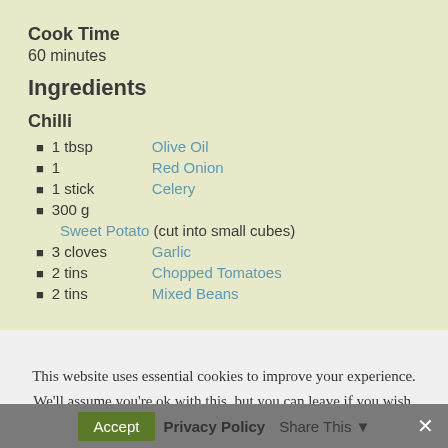Cook Time
60 minutes
Ingredients
Chilli
1 tbsp  Olive Oil
1  Red Onion
1 stick  Celery
300 g  Sweet Potato (cut into small cubes)
3 cloves  Garlic
2 tins  Chopped Tomatoes
2 tins  Mixed Beans
This website uses essential cookies to improve your experience. We'll assume you're ok with this, but you can leave if you wish.
Accept  Privacy Policy  Share This  ×